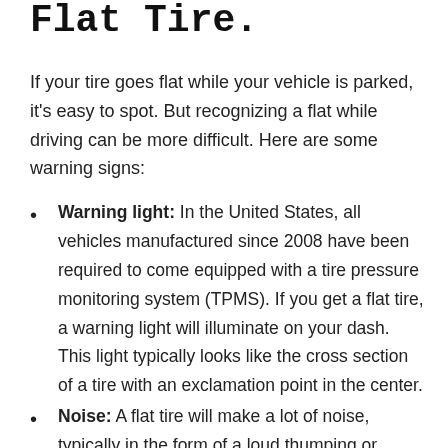Flat Tire.
If your tire goes flat while your vehicle is parked, it's easy to spot. But recognizing a flat while driving can be more difficult. Here are some warning signs:
Warning light: In the United States, all vehicles manufactured since 2008 have been required to come equipped with a tire pressure monitoring system (TPMS). If you get a flat tire, a warning light will illuminate on your dash. This light typically looks like the cross section of a tire with an exclamation point in the center.
Noise: A flat tire will make a lot of noise, typically in the form of a loud thumping or flapping sound